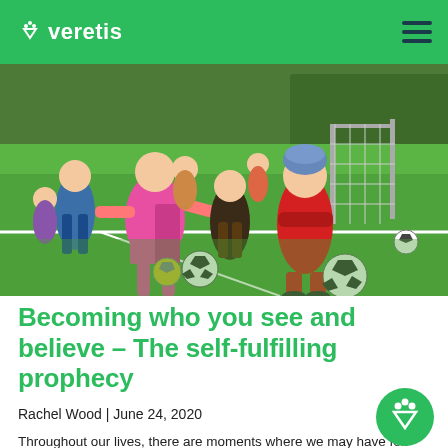Veretis
[Figure (photo): Children in colorful winter clothing playing soccer/football on a green artificial turf field, with a goal net visible in the background and multiple soccer balls on the pitch.]
Becoming who you see and believe – The self-fulfilling prophecy
Rachel Wood | June 24, 2020
Throughout our lives, there are moments where we may have felt